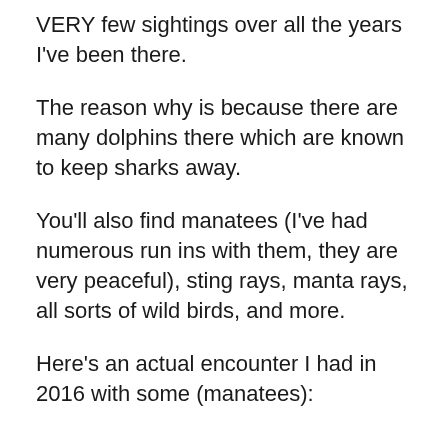VERY few sightings over all the years I've been there.
The reason why is because there are many dolphins there which are known to keep sharks away.
You'll also find manatees (I've had numerous run ins with them, they are very peaceful), sting rays, manta rays, all sorts of wild birds, and more.
Here's an actual encounter I had in 2016 with some (manatees):